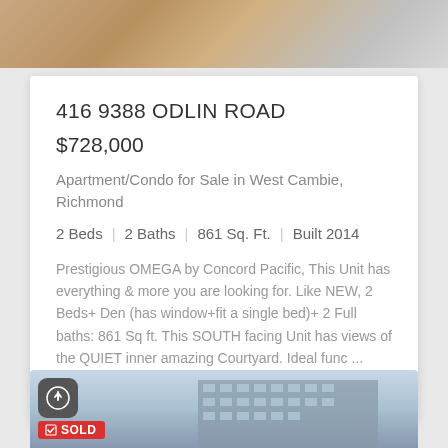[Figure (photo): Top portion of interior photo showing wood flooring and tiles]
416 9388 ODLIN ROAD
$728,000
Apartment/Condo for Sale in West Cambie, Richmond
2 Beds | 2 Baths | 861 Sq. Ft. | Built 2014
Prestigious OMEGA by Concord Pacific, This Unit has everything & more you are looking for. Like NEW, 2 Beds+ Den (has window+fit a single bed)+ 2 Full baths: 861 Sq ft. This SOUTH facing Unit has views of the QUIET inner amazing Courtyard. Ideal func ...
Sold By Matt Gul (R2628938)
[Figure (photo): Bottom partial photo showing a multi-storey apartment building exterior against blue sky, with a SOLD badge overlay]